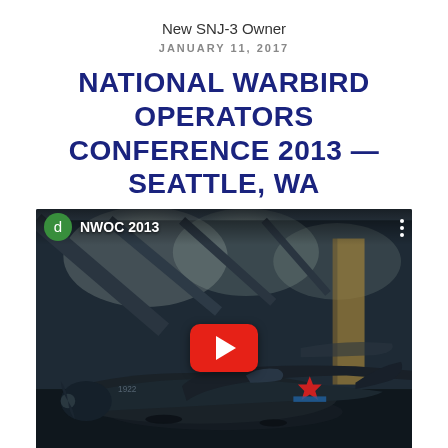New SNJ-3 Owner
JANUARY 11, 2017
NATIONAL WARBIRD OPERATORS CONFERENCE 2013 — SEATTLE, WA
[Figure (screenshot): YouTube video thumbnail showing a WWII-era warbird aircraft (dark green/black with Soviet red star marking) in a museum hangar (likely the Museum of Flight, Seattle). The video is titled 'NWOC 2013' with a green 'd' avatar icon in the top left. A red YouTube play button is centered over the image.]